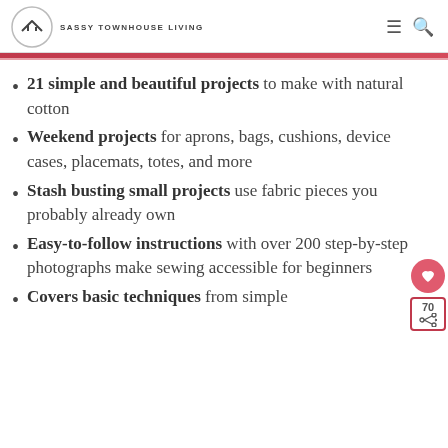SASSY TOWNHOUSE LIVING
21 simple and beautiful projects to make with natural cotton
Weekend projects for aprons, bags, cushions, device cases, placemats, totes, and more
Stash busting small projects use fabric pieces you probably already own
Easy-to-follow instructions with over 200 step-by-step photographs make sewing accessible for beginners
Covers basic techniques from simple